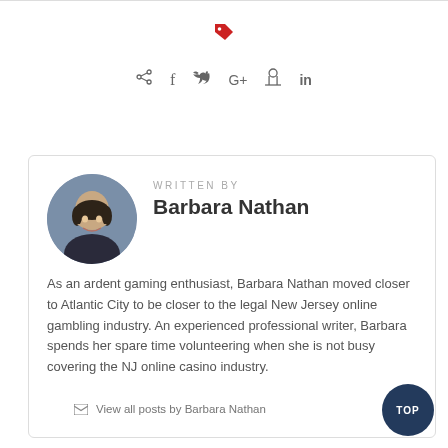[Figure (other): Red tag/label icon]
[Figure (other): Social media sharing icons row: share, facebook, twitter, google+, pinterest, linkedin]
[Figure (photo): Author profile photo of Barbara Nathan, circular crop, woman with dark hair smiling]
WRITTEN BY
Barbara Nathan
As an ardent gaming enthusiast, Barbara Nathan moved closer to Atlantic City to be closer to the legal New Jersey online gambling industry. An experienced professional writer, Barbara spends her spare time volunteering when she is not busy covering the NJ online casino industry.
View all posts by Barbara Nathan